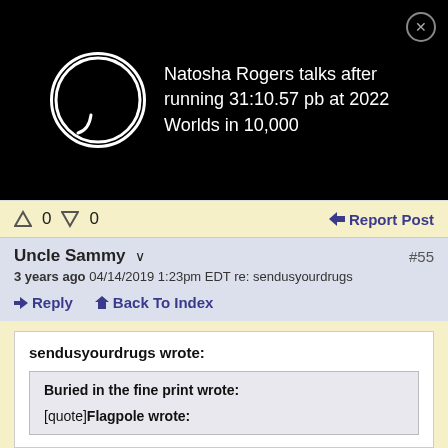[Figure (screenshot): Video thumbnail notification bar with circular profile image placeholder and video title text on black background with close button]
Natosha Rogers talks after running 31:10.57 pb at 2022 Worlds in 10,000
↑ 0 ↓ 0   ◀ Report Post
Uncle Sammy  ∨   #55
3 years ago 04/14/2019 1:23pm EDT re: sendusyourdrugs
↩ Reply   ⌂ Back To Index
sendusyourdrugs wrote:
Buried in the fine print wrote:

[quote]Flagpole wrote:
[Figure (screenshot): Wayfair advertisement banner: Wayfair.com - Online Home Store Sale! Shop for A Zillion Things Home across all styles at Wayfair! www.wayfair.com]